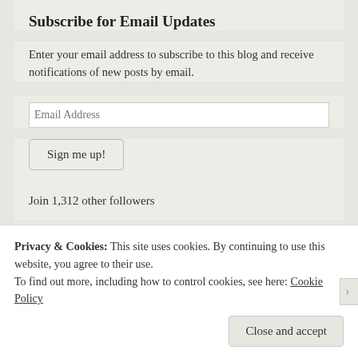Subscribe for Email Updates
Enter your email address to subscribe to this blog and receive notifications of new posts by email.
Email Address
Sign me up!
Join 1,312 other followers
[Figure (other): Social media icons: Facebook (blue), Twitter (white with blue bird), and a red plus/add icon]
Privacy & Cookies: This site uses cookies. By continuing to use this website, you agree to their use.
To find out more, including how to control cookies, see here: Cookie Policy
Close and accept